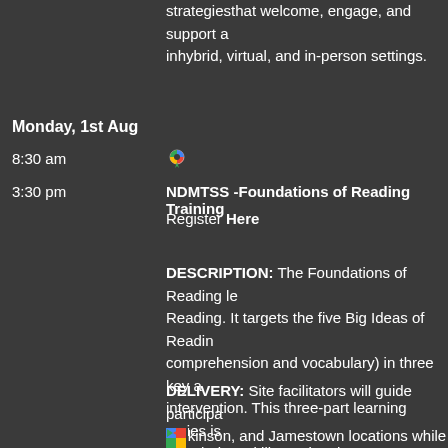strategies that welcome, engage, and support a in hybrid, virtual, and in-person settings.
Monday, 1st Aug
8:30 am
3:30 pm
NDMTSS -Foundations of Reading Training
Register Here
DESCRIPTION: The Foundations of Reading le Reading. It targets the five Big Ideas of Reading comprehension and vocabulary) in three key a intervention. This three-part learning series is knowledge, skills, and tools necessary to addre
DELIVERY: Site facilitators will guide participa Dickinson, and Jamestown locations while a re